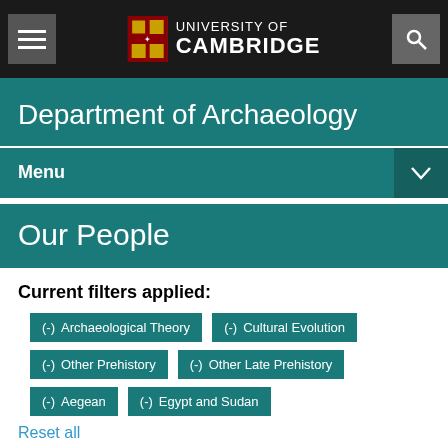University of Cambridge
Department of Archaeology
Menu
Our People
Current filters applied:
(-) Archaeological Theory
(-) Cultural Evolution
(-) Other Prehistory
(-) Other Late Prehistory
(-) Aegean
(-) Egypt and Sudan
Reset all